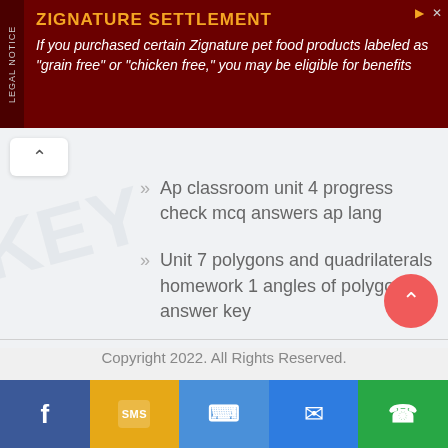[Figure (infographic): Advertisement banner for Zignature Settlement with dark red background, yellow title text, white body text, and vertical LEGAL NOTICE sidebar]
Ap classroom unit 4 progress check mcq answers ap lang
Unit 7 polygons and quadrilaterals homework 1 angles of polygons answer key
Copyright 2022. All Rights Reserved.